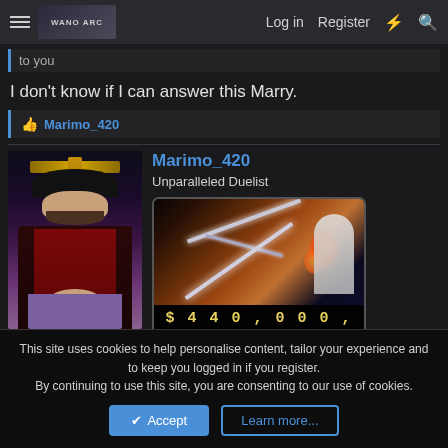Log in  Register
to you
I don't know if I can answer this Marry.
Marimo_420
Marimo_420
Unparalleled Duelist
$440,000,000-
[Figure (screenshot): Forum post with user avatar (Dracule Mihawk anime character) and a bounty card showing crossed swords with $440,000,000- text]
This site uses cookies to help personalise content, tailor your experience and to keep you logged in if you register. By continuing to use this site, you are consenting to our use of cookies.
Accept  Learn more...